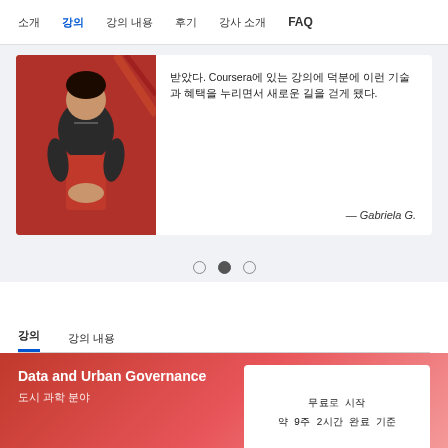소개  강의  강의 내용  후기  강사 소개  FAQ
[Figure (photo): Woman sitting on stairs wearing dark top and red pants, testimonial card with text about Coursera]
받았다. Coursera에 있는 강의에 덕분에 이런 기술과 혜택을 누리면서 새로운 길을 걷게 됐다.
— Gabriela G.
○ ● ○
강의  강의 내용
Data and Urban Governance
도시 과학 분야
무료로 시작
약 9주 2시간 완료 기준